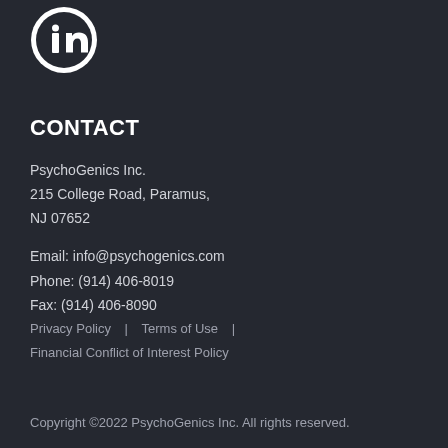[Figure (logo): LinkedIn icon: white 'in' logo on dark circular background with white circle ring]
CONTACT
PsychoGenics Inc.
215 College Road, Paramus,
NJ 07652
Email: info@psychogenics.com
Phone: (914) 406-8019
Fax: (914) 406-8090
Privacy Policy  |  Terms of Use  |
Financial Conflict of Interest Policy
Copyright ©2022 PsychoGenics Inc. All rights reserved.